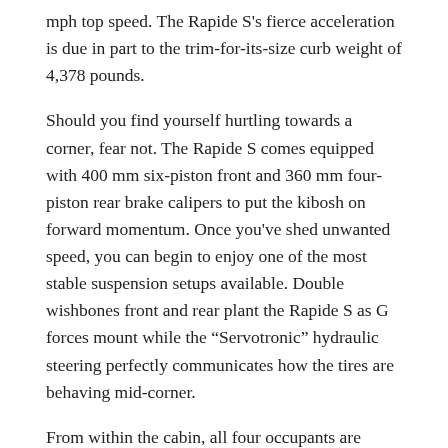mph top speed. The Rapide S's fierce acceleration is due in part to the trim-for-its-size curb weight of 4,378 pounds.
Should you find yourself hurtling towards a corner, fear not. The Rapide S comes equipped with 400 mm six-piston front and 360 mm four-piston rear brake calipers to put the kibosh on forward momentum. Once you've shed unwanted speed, you can begin to enjoy one of the most stable suspension setups available. Double wishbones front and rear plant the Rapide S as G forces mount while the “Servotronic” hydraulic steering perfectly communicates how the tires are behaving mid-corner.
From within the cabin, all four occupants are comfortably nestled in independent tightly-bolstered sport buckets. Driver and front passenger can program their own climate preferences while rear-seat occupants must reach a compromise amongst